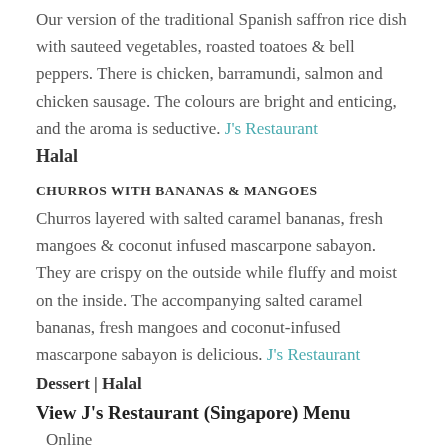Our version of the traditional Spanish saffron rice dish with sauteed vegetables, roasted toatoes & bell peppers. There is chicken, barramundi, salmon and chicken sausage. The colours are bright and enticing, and the aroma is seductive. J's Restaurant
Halal
CHURROS WITH BANANAS & MANGOES
Churros layered with salted caramel bananas, fresh mangoes & coconut infused mascarpone sabayon. They are crispy on the outside while fluffy and moist on the inside. The accompanying salted caramel bananas, fresh mangoes and coconut-infused mascarpone sabayon is delicious. J's Restaurant
Dessert | Halal
View J's Restaurant (Singapore) Menu
Online